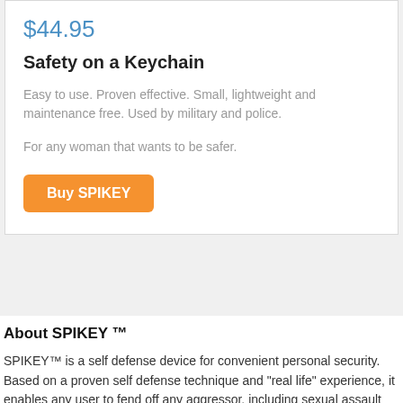$44.95
Safety on a Keychain
Easy to use. Proven effective. Small, lightweight and maintenance free. Used by military and police.
For any woman that wants to be safer.
Buy SPIKEY
About SPIKEY ™
SPIKEY™ is a self defense device for convenient personal security. Based on a proven self defense technique and "real life" experience, it enables any user to fend off any aggressor, including sexual assault and violent attacks.